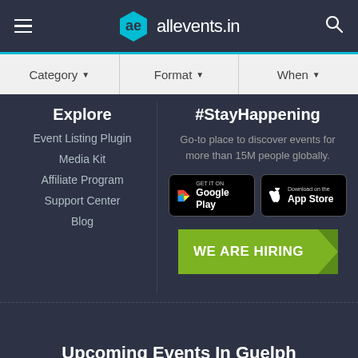allevents.in
Category ▼   Format ▼   When ▼
Explore
Event Listing Plugin
Media Kit
Affiliate Program
Support Center
Blog
#StayHappening
Go-to place to discover events for more than 15M people globally.
[Figure (screenshot): Google Play store button]
[Figure (screenshot): Apple App Store button]
[Figure (infographic): WE ARE HIRING green banner button]
Upcoming Events In Guelph